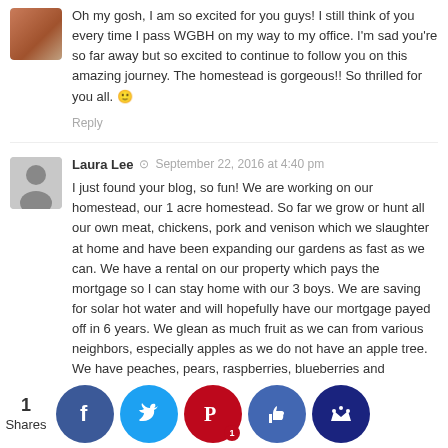[Figure (photo): Small photo avatar of a woman with brown hair]
Oh my gosh, I am so excited for you guys! I still think of you every time I pass WGBH on my way to my office. I'm sad you're so far away but so excited to continue to follow you on this amazing journey. The homestead is gorgeous!! So thrilled for you all. 🙂
Reply
[Figure (photo): Gray silhouette avatar placeholder for Laura Lee]
Laura Lee  ⊙  September 22, 2016 at 4:40 pm
I just found your blog, so fun! We are working on our homestead, our 1 acre homestead. So far we grow or hunt all our own meat, chickens, pork and venison which we slaughter at home and have been expanding our gardens as fast as we can. We have a rental on our property which pays the mortgage so I can stay home with our 3 boys. We are saving for solar hot water and will hopefully have our mortgage payed off in 6 years. We glean as much fruit as we can from various neighbors, especially apples as we do not have an apple tree. We have peaches, pears, raspberries, blueberries and gooseberries. It is amazing what you can do on an acre! Have f...
1 Shares
[Figure (infographic): Social share buttons row: Facebook (blue), Twitter (light blue), Pinterest (red with badge '1'), Like/thumbs-up (blue), Crown (dark blue)]